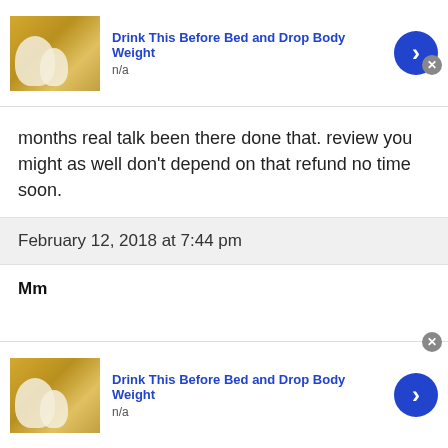[Figure (screenshot): Advertisement banner: food image on left (yellow soup/mash with garlic), bold blue title 'Drink This Before Bed and Drop Body Weight', subtitle 'n/a', blue circular arrow button, grey close X button]
months real talk been there done that. review you might as well don't depend on that refund no time soon.
February 12, 2018 at 7:44 pm
Mm
Anyone else this year have their state modified until they send in verification proving your child
[Figure (screenshot): Advertisement banner (bottom repeat): food image on left (yellow soup/mash with garlic), bold blue title 'Drink This Before Bed and Drop Body Weight', subtitle 'n/a', blue circular arrow button, grey close X button]